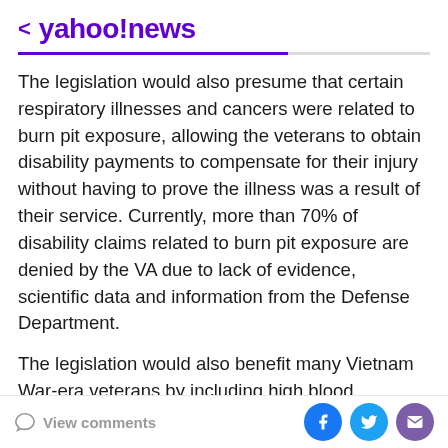< yahoo!news
The legislation would also presume that certain respiratory illnesses and cancers were related to burn pit exposure, allowing the veterans to obtain disability payments to compensate for their injury without having to prove the illness was a result of their service. Currently, more than 70% of disability claims related to burn pit exposure are denied by the VA due to lack of evidence, scientific data and information from the Defense Department.
The legislation would also benefit many Vietnam War-era veterans by including high blood pressure in the list of conditions presumed to have been caused by exposure
View comments